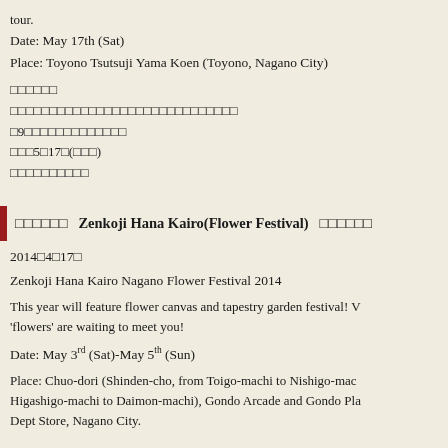tour.
Date: May 17th (Sat)
Place: Toyono Tsutsuji Yama Koen (Toyono, Nagano City)
（Japanese text block with event details）
善光寺花回廊　Zenkoji Hana Kairo(Flower Festival) 善光寺花回廊
2014年4月17日
Zenkoji Hana Kairo Nagano Flower Festival 2014
This year will feature flower canvas and tapestry garden festival! Various 'flowers' are waiting to meet you!
Date: May 3rd (Sat)-May 5th (Sun)
Place: Chuo-dori (Shinden-cho, from Toigo-machi to Nishigo-machi, Higashigo-machi to Daimon-machi), Gondo Arcade and Gondo Plaza Dept Store, Nagano City.